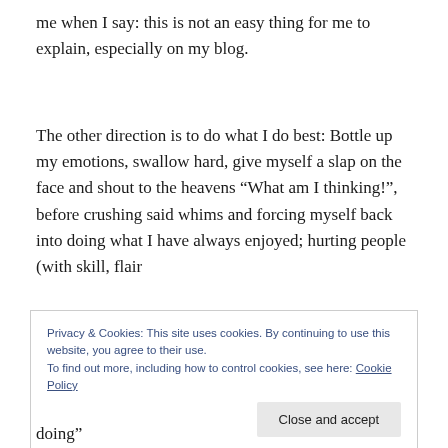me when I say: this is not an easy thing for me to explain, especially on my blog.
The other direction is to do what I do best: Bottle up my emotions, swallow hard, give myself a slap on the face and shout to the heavens “What am I thinking!”, before crushing said whims and forcing myself back into doing what I have always enjoyed; hurting people (with skill, flair
Privacy & Cookies: This site uses cookies. By continuing to use this website, you agree to their use.
To find out more, including how to control cookies, see here: Cookie Policy
Close and accept
doing”